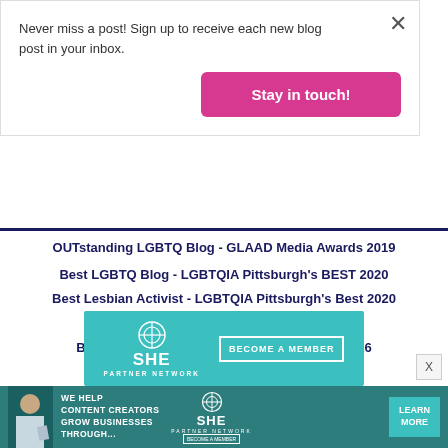Never miss a post! Sign up to receive each new blog post in your inbox.
Stay in touch!
OUTstanding LGBTQ Blog - GLAAD Media Awards 2019
Best LGBTQ Blog - LGBTQIA Pittsburgh's BEST 2020
Best Lesbian Activist - LGBTQIA Pittsburgh's Best 2020
Best Local Blog - Pittsburgh City Paper 2019
Best Local Blogger - Pittsburgh City Paper 2016
[Figure (logo): SHE Media Partner Network - Become a Member banner (teal background)]
[Figure (infographic): SHE Media Partner Network - We help content creators grow businesses through... Learn More banner (dark teal background)]